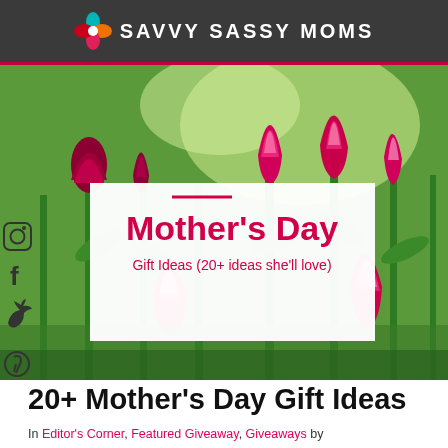SAVVY SASSY MOMS
[Figure (photo): Hero photo of bright pink/red tulips in a garden with green stems and leaves, with a white overlay card showing Mother's Day Gift Ideas text]
Mother's Day Gift Ideas (20+ ideas she'll love)
20+ Mother's Day Gift Ideas
In Editor's Corner, Featured Giveaway, Giveaways by SavvySassyMoms / 43 Comments